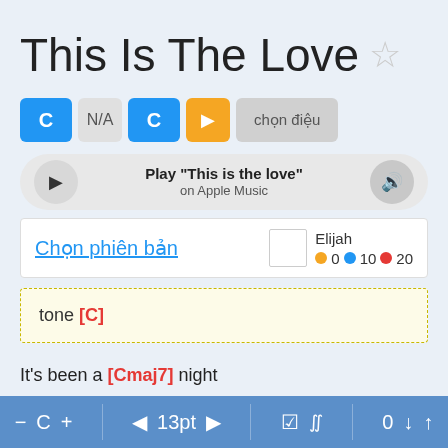This Is The Love ☆
C  N/A  C  ▶  chọn điệu
Play "This is the love" on Apple Music
Chọn phiên bản  Elijah  0 10 20
tone [C]
It's been a [Cmaj7] night
— C +  ◄ 13pt ►  ☑ ∬  0 ↓ ↑